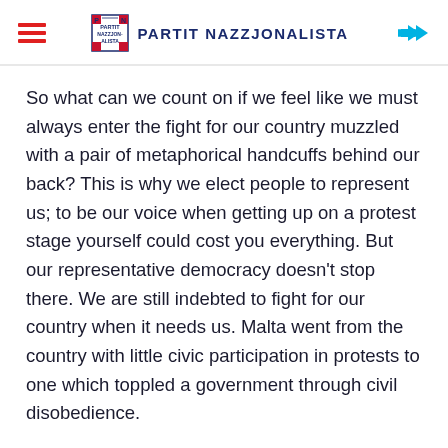PARTIT NAZZJONALISTA
So what can we count on if we feel like we must always enter the fight for our country muzzled with a pair of metaphorical handcuffs behind our back? This is why we elect people to represent us; to be our voice when getting up on a protest stage yourself could cost you everything. But our representative democracy doesn't stop there. We are still indebted to fight for our country when it needs us. Malta went from the country with little civic participation in protests to one which toppled a government through civil disobedience.